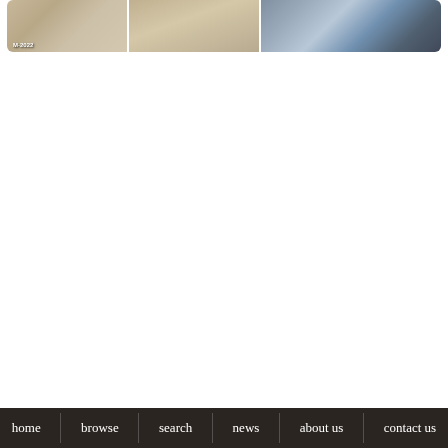[Figure (photo): A strip of three photographs showing building/property interior and exterior views. The leftmost photo shows a concrete or stone interior with a timestamp watermark reading 'M-2022'. The middle photo shows a hallway or corridor interior with neutral tones. The rightmost photo shows a view through a window or from an elevated position looking out at an exterior scene with vehicles or infrastructure visible.]
home   browse   search   news   about us   contact us